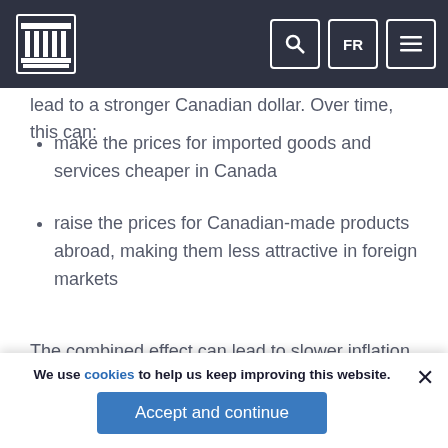Bank of Canada navigation bar with logo, search, FR, and menu buttons
lead to a stronger Canadian dollar. Over time, this can:
make the prices for imported goods and services cheaper in Canada
raise the prices for Canadian-made products abroad, making them less attractive in foreign markets
The combined effect can lead to slower inflation in Canada.
Expectations
Businesses and households make decisions about
We use cookies to help us keep improving this website.
Accept and continue